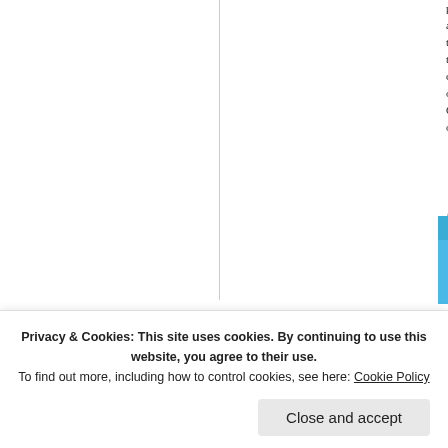perspective as the pagans around them. are seeing the world as pagans see it. G the status of servant. Jesus demonstrate the last supper, taking on the job of the lo clear: followers of Jesus are called to ser others. Believers are nowhere instructed Our primary concern in life ought to be o obedience.
Advertisements
[Figure (illustration): DAY ONE advertisement banner with blue background, showing circular icon avatars of people/devices]
Perhaps the biggest problem with how m
Privacy & Cookies: This site uses cookies. By continuing to use this website, you agree to their use. To find out more, including how to control cookies, see here: Cookie Policy
Close and accept